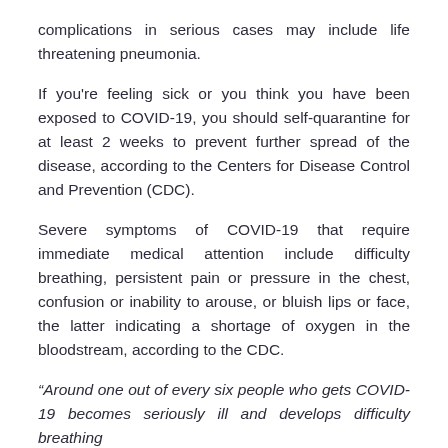complications in serious cases may include life threatening pneumonia.
If you're feeling sick or you think you have been exposed to COVID-19, you should self-quarantine for at least 2 weeks to prevent further spread of the disease, according to the Centers for Disease Control and Prevention (CDC).
Severe symptoms of COVID-19 that require immediate medical attention include difficulty breathing, persistent pain or pressure in the chest, confusion or inability to arouse, or bluish lips or face, the latter indicating a shortage of oxygen in the bloodstream, according to the CDC.
“Around one out of every six people who gets COVID-19 becomes seriously ill and develops difficulty breathing,” WHO stated. “Older people, and those with underlying medical problems…”